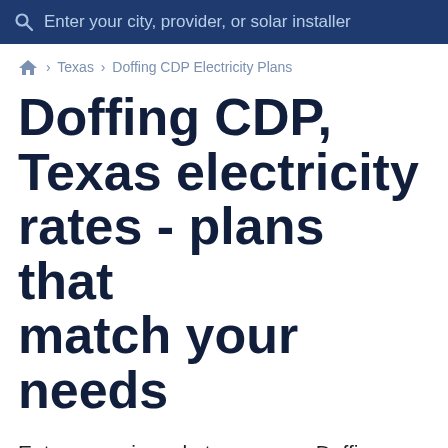Enter your city, provider, or solar installer
🏠 › Texas › Doffing CDP Electricity Plans
Doffing CDP, Texas electricity rates - plans that match your needs
Enter your zip code to compare Doffing CDP electricity rates and plans and see available electric companies.